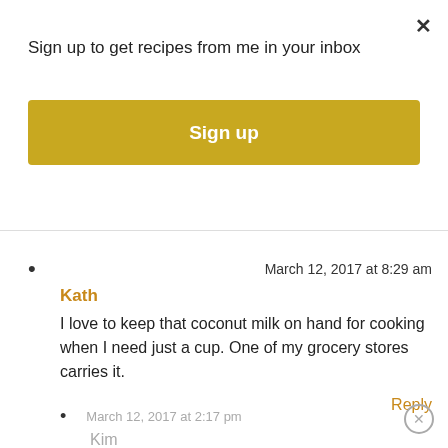Sign up to get recipes from me in your inbox
Sign up
March 12, 2017 at 8:29 am
Kath
I love to keep that coconut milk on hand for cooking when I need just a cup. One of my grocery stores carries it.
Reply
March 12, 2017 at 2:17 pm
Kim